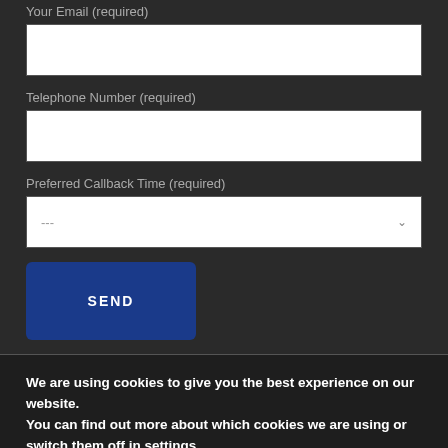Your Email (required)
Telephone Number (required)
Preferred Callback Time (required)
SEND
We are using cookies to give you the best experience on our website.
You can find out more about which cookies we are using or switch them off in settings.
Accept